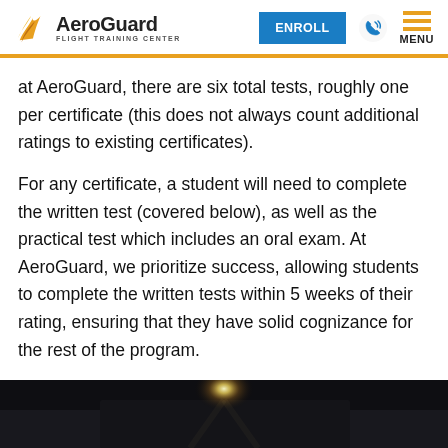AeroGuard Flight Training Center — ENROLL | MENU
at AeroGuard, there are six total tests, roughly one per certificate (this does not always count additional ratings to existing certificates).
For any certificate, a student will need to complete the written test (covered below), as well as the practical test which includes an oral exam. At AeroGuard, we prioritize success, allowing students to complete the written tests within 5 weeks of their rating, ensuring that they have solid cognizance for the rest of the program.
[Figure (photo): Dark background photo, partial view of an aircraft with a bright light flare visible]